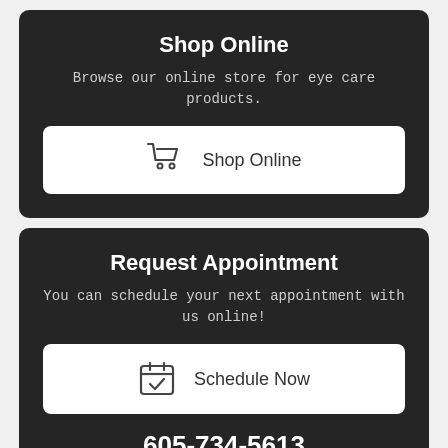Shop Online
Browse our online store for eye care products.
[Figure (illustration): White button with shopping cart icon and text 'Shop Online']
Request Appointment
You can schedule your next appointment with us online!
[Figure (illustration): White button with calendar/checkmark icon and text 'Schedule Now']
605-734-5613